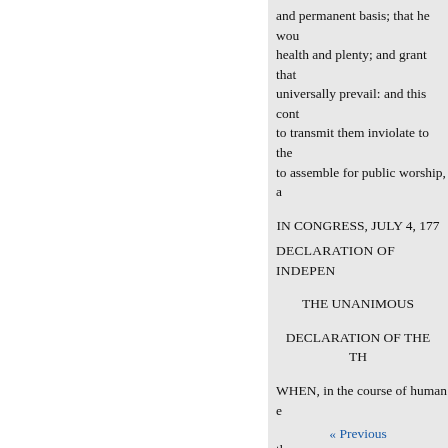and permanent basis; that he wou health and plenty; and grant that universally prevail: and this cont to transmit them inviolate to the to assemble for public worship, a
IN CONGRESS, JULY 4, 177
DECLARATION OF INDEPEN
THE UNANIMOUS
DECLARATION OF THE TH
WHEN, in the course of human e bands which have connected ther separate and equal station to whi to the opinions of mankind, requ
We hold these truths to be self Creator with certain unalienable to secure these rights, govern
« Previous